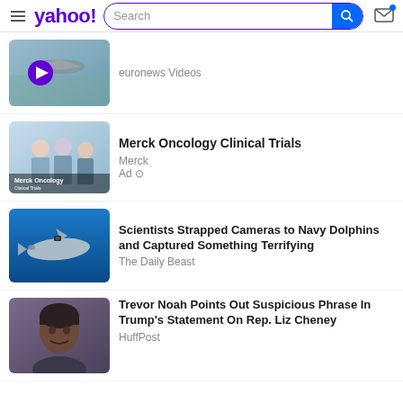yahoo! Search
[Figure (screenshot): Video thumbnail with airplane and purple play button, euronews Videos]
euronews Videos
[Figure (photo): Merck Oncology Clinical Trials ad thumbnail showing medical professionals]
Merck Oncology Clinical Trials
Merck
Ad
[Figure (photo): Dolphin underwater with camera strapped to it]
Scientists Strapped Cameras to Navy Dolphins and Captured Something Terrifying
The Daily Beast
[Figure (photo): Trevor Noah portrait photo]
Trevor Noah Points Out Suspicious Phrase In Trump's Statement On Rep. Liz Cheney
HuffPost